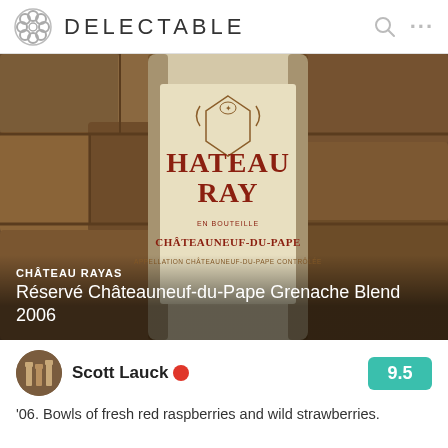DELECTABLE
[Figure (photo): Close-up photo of a Château Rayas Châteauneuf-du-Pape wine bottle label against a stone wall background]
CHÂTEAU RAYAS
Réservé Châteauneuf-du-Pape Grenache Blend 2006
Scott Lauck  9.5
'06. Bowls of fresh red raspberries and wild strawberries.